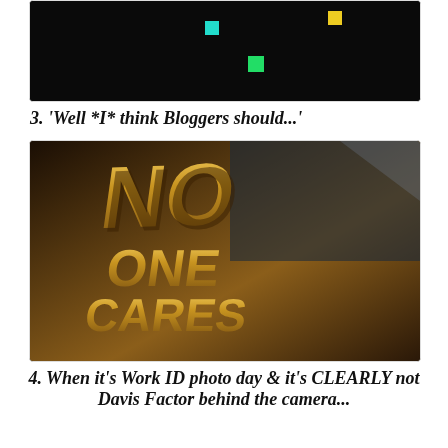[Figure (photo): Dark/black background with small colored squares (cyan, green, yellow) floating - appears to be a screenshot or game screen]
3.  'Well *I* think Bloggers should...'
[Figure (photo): 3D block letters spelling 'NO ONE CARES' styled like a movie production logo, with dramatic lighting against a city backdrop]
4. When it's Work ID photo day & it's CLEARLY not Davis Factor behind the camera...
[Figure (photo): Close-up photo of a disheveled-looking dog (possibly Chinese Crested) with messy hair and a small dark face, on a light background]